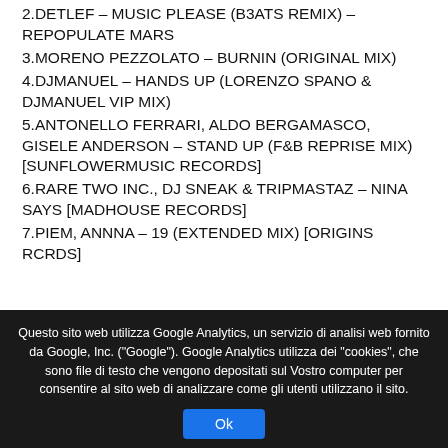2.DETLEF – MUSIC PLEASE (B3ATS REMIX) – REPOPULATE MARS
3.MORENO PEZZOLATO – BURNIN (ORIGINAL MIX)
4.DJMANUEL – HANDS UP (LORENZO SPANO & DJMANUEL VIP MIX)
5.ANTONELLO FERRARI, ALDO BERGAMASCO, GISELE ANDERSON – STAND UP (F&B REPRISE MIX) [SUNFLOWERMUSIC RECORDS]
6.RARE TWO INC., DJ SNEAK & TRIPMASTAZ – NINA SAYS [MADHOUSE RECORDS]
7.PIEM, ANNNA – 19 (EXTENDED MIX) [ORIGINS RCRDS]
Questo sito web utilizza Google Analytics, un servizio di analisi web fornito da Google, Inc. ("Google"). Google Analytics utilizza dei "cookies", che sono file di testo che vengono depositati sul Vostro computer per consentire al sito web di analizzare come gli utenti utilizzano il sito.